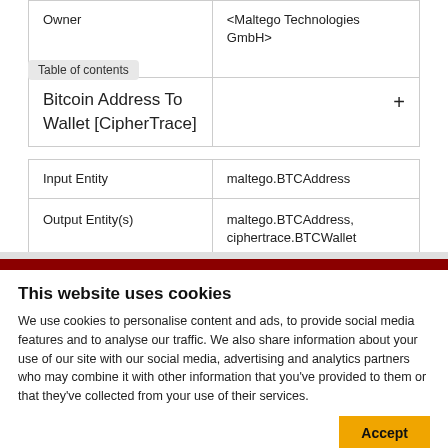|  |  |
| --- | --- |
| Owner | <Maltego Technologies GmbH> |
| Bitcoin Address To Wallet [CipherTrace] | + |
|  |  |
| Input Entity | maltego.BTCAddress |
| Output Entity(s) | maltego.BTCAddress, ciphertrace.BTCWallet |
This website uses cookies
We use cookies to personalise content and ads, to provide social media features and to analyse our traffic. We also share information about your use of our site with our social media, advertising and analytics partners who may combine it with other information that you've provided to them or that they've collected from your use of their services.